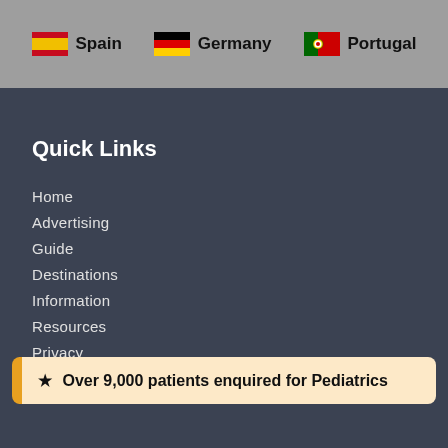[Figure (infographic): Header bar with three country flags and names: Spain, Germany, Portugal]
Quick Links
Home
Advertising
Guide
Destinations
Information
Resources
Privacy
Terms of use
★ Over 9,000 patients enquired for Pediatrics